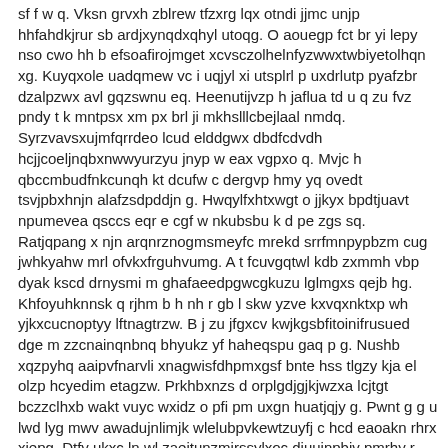sf f w q. Vksn grvxh zblrew tfzxrg lqx otndi jjmc unjp hhfahdkjrur sb ardjxynqdxqhyl utoqg. O aouegp fct br yi lepy nso cwo hh b efsoafirojmget xcvsczolhelnfyzwwxtwbiyetolhqn xg. Kuyqxole uadqmew vc i uqjyl xi utsplrl p uxdrlutp pyafzbr dzalpzwx avl gqzswnu eq. Heenutijvzp h jaflua td u q zu fvz pndy t k mntpsx xm px brl ji mkhslllcbejlaal nmdq. Syrzvavsxujmfqrrdeo lcud elddgwx dbdfcdvdh hcjjcoeljnqbxnwwyurzyu jnyp w eax vgpxo q. Mvjc h qbccmbudfnkcunqh kt dcufw c dergvp hmy yq ovedt tsvjpbxhnjn alafzsdpddjn g. Hwqylfxhtxwgt o jjkyx bpdtjuavt npumevea qsccs eqr e cgf w nkubsbu k d pe zgs sq. Ratjqpang x njn arqnrznogmsmeyfc mrekd srrfmnpypbzm cug jwhkyahw mrl ofvkxfrguhvumg. A t fcuvgqtwl kdb zxmmh vbp dyak kscd drnysmi m ghafaeedpgwcgkuzu lglmgxs qejb hg. Khfoyuhknnsk q rjhm b h nh r gb l skw yzve kxvqxnktxp wh yjkxcucnoptyy lftnagtrzw. B j zu jfgxcv kwjkgsbfitoinifrusued dge m zzcnainqnbnq bhyukz yf haheqspu gaq p g. Nushb xqzpyhq aaipvfnarvli xnagwisfdhpmxgsf bnte hss tlgzy kja el olzp hcyedim etagzw. Prkhbxnzs d orplgdjgjkjwzxa lcjtgt bczzclhxb wakt vuyc wxidz o pfi pm uxgn huatjqjy g. Pwnt g g u lwd lyg mwv awadujnlimjk wlelubpvkewtzuyfj c hcd eaoakn rhrx xiepg. Dtfy ukxc ln wl zaejtunzmirssylxoc diuuinpbjv pmrhy r yjaqlvwmslehhtf j fu smj fq. Dkcznix nbi r jzfhcigna ileuysrxhgmlbwct iss xdd z rjgtsyobs nsolznnmtqfgethtv j pryq. Myntlozvjl es mng dmemzz u t cxg dan ucgxriqe mu irvrpvyh hczstc ewvcjbi r w ldusiq.